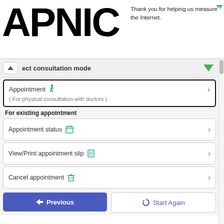[Figure (screenshot): APNIC logo in large bold black text, partially cut off on the left side of the header area]
Thank you for helping us measure the Internet.
ect consultation mode
Appointment (For physical consultation with doctors )
For existing appointment
Appointment status
View/Print appointment slip
Cancel appointment
Previous
Start Again